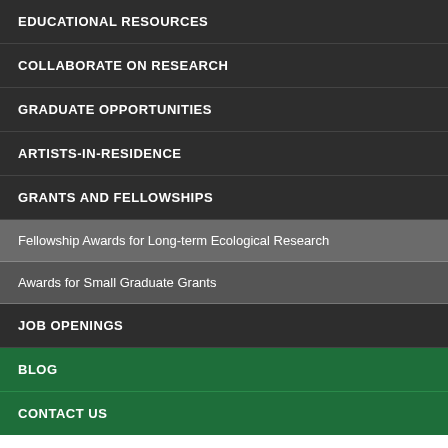EDUCATIONAL RESOURCES
COLLABORATE ON RESEARCH
GRADUATE OPPORTUNITIES
ARTISTS-IN-RESIDENCE
GRANTS AND FELLOWSHIPS
Fellowship Awards for Long-term Ecological Research
Awards for Small Graduate Grants
JOB OPENINGS
BLOG
CONTACT US
HOME > DATATABLES > RESEARCH CONTEXT > GPS COORDINATES OF GLBRC MARSHALL FARM FEATURES